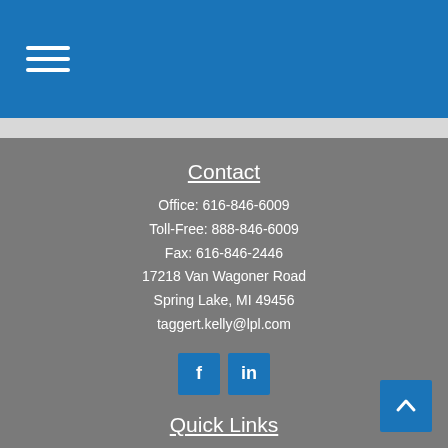[Figure (logo): Hamburger menu icon (three horizontal white lines) on a blue header bar]
Contact
Office: 616-846-6009
Toll-Free: 888-846-6009
Fax: 616-846-2446
17218 Van Wagoner Road
Spring Lake, MI 49456
taggert.kelly@lpl.com
[Figure (infographic): Facebook and LinkedIn social media icon buttons in blue]
Quick Links
Retirement
Investment
Estate
Insurance
Tax